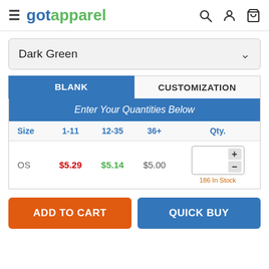[Figure (logo): gotapparel logo with hamburger menu and search/account/cart icons]
Dark Green
| Size | 1-11 | 12-35 | 36+ | Qty. |
| --- | --- | --- | --- | --- |
| OS | $5.29 | $5.14 | $5.00 | 186 In Stock |
ADD TO CART
QUICK BUY